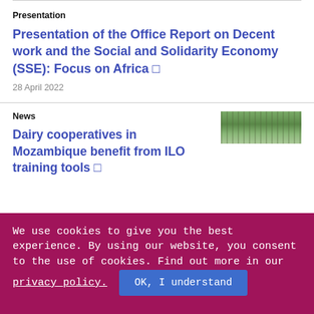Presentation
Presentation of the Office Report on Decent work and the Social and Solidarity Economy (SSE): Focus on Africa
28 April 2022
News
[Figure (photo): Landscape photo showing trees and outdoor scenery]
Dairy cooperatives in Mozambique benefit from ILO training tools
We use cookies to give you the best experience. By using our website, you consent to the use of cookies. Find out more in our privacy policy.